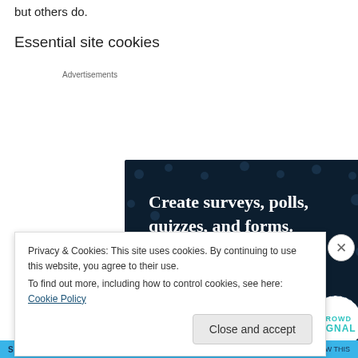but others do.
Essential site cookies
Advertisements
[Figure (infographic): Advertisement banner with dark navy background, white bold text reading 'Create surveys, polls, quizzes, and forms.' with a pink 'Start now' button and a circular Crowdsignal logo in the bottom right.]
Privacy & Cookies: This site uses cookies. By continuing to use this website, you agree to their use.
To find out more, including how to control cookies, see here: Cookie Policy
Close and accept